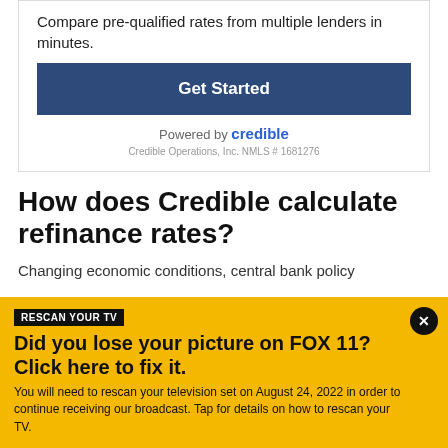Compare pre-qualified rates from multiple lenders in minutes.
[Figure (other): Get Started button - dark blue rectangular button with white bold text]
Powered by credible
Credible Operations, Inc. NMLS # 1681276
How does Credible calculate refinance rates?
Changing economic conditions, central bank policy
RESCAN YOUR TV
Did you lose your picture on FOX 11? Click here to fix it.
You will need to rescan your television set on August 24, 2022 in order to continue receiving our broadcast. Tap for details on how to rescan your TV.